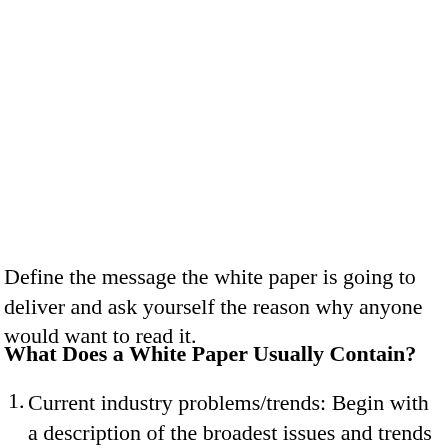Define the message the white paper is going to deliver and ask yourself the reason why anyone would want to read it.
What Does a White Paper Usually Contain?
Current industry problems/trends: Begin with a description of the broadest issues and trends in the industry that will introduce the reader to the topic. Th...